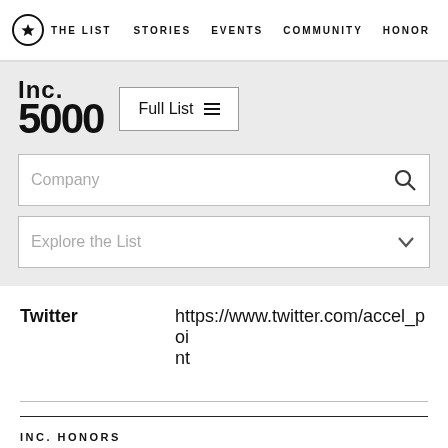THE LIST  STORIES  EVENTS  COMMUNITY  HONORS
[Figure (logo): Inc. 5000 logo with 'Full List' button]
Company (search box)
Explore the List (dropdown)
Twitter  https://www.twitter.com/accel_point
INC. HONORS